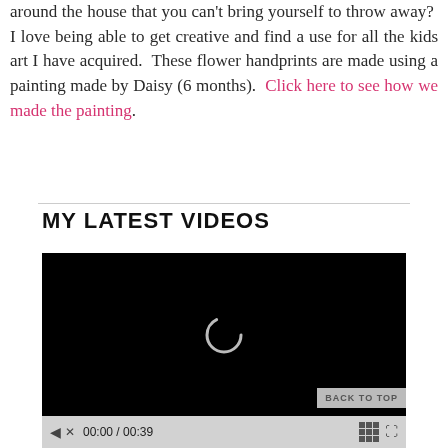around the house that you can't bring yourself to throw away?  I love being able to get creative and find a use for all the kids art I have acquired.  These flower handprints are made using a painting made by Daisy (6 months).  Click here to see how we made the painting.
MY LATEST VIDEOS
[Figure (screenshot): Video player showing a black screen with a loading spinner (circular arc) in the center, and video controls at the bottom showing play button, mute icon, time 00:00 / 00:39, grid/playlist icon, and fullscreen icon.]